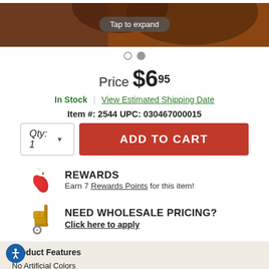[Figure (photo): Product photo partially visible at top with dark chocolate packaging, overlaid with a 'Tap to expand' button]
Price $6.95
In Stock | View Estimated Shipping Date
Item #: 2544 UPC: 030467000015
Qty: 1 ▼
ADD TO CART
REWARDS
Earn 7 Rewards Points for this item!
NEED WHOLESALE PRICING?
Click here to apply
Product Features
No Artificial Colors
No Artificial Flavors
No conservatives